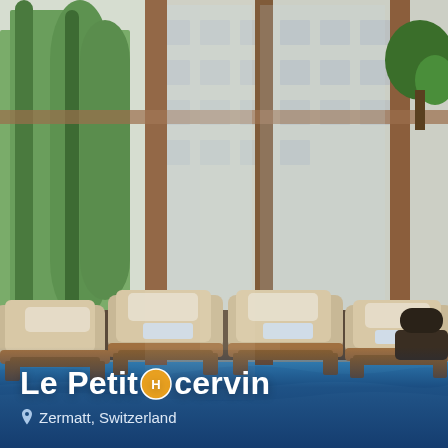[Figure (photo): Indoor hotel spa pool area with wicker lounge chairs and cream cushions arranged beside a blue swimming pool. Large floor-to-ceiling windows overlook green trees. Warm, sunny ambiance with wooden structural beams.]
Le Petit Cervin
Zermatt, Switzerland